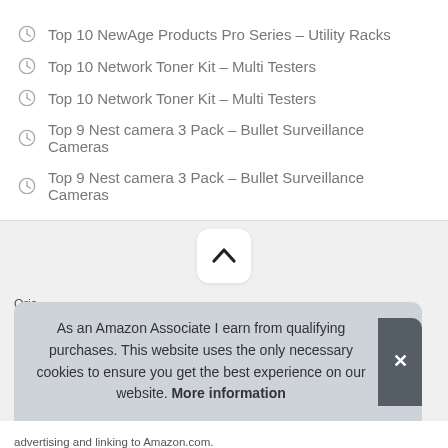Top 10 NewAge Products Pro Series – Utility Racks
Top 10 Network Toner Kit – Multi Testers
Top 10 Network Toner Kit – Multi Testers
Top 9 Nest camera 3 Pack – Bullet Surveillance Cameras
Top 9 Nest camera 3 Pack – Bullet Surveillance Cameras
As an Amazon Associate I earn from qualifying purchases. This website uses the only necessary cookies to ensure you get the best experience on our website. More information
Oric
Ass
advertising and linking to Amazon.com.